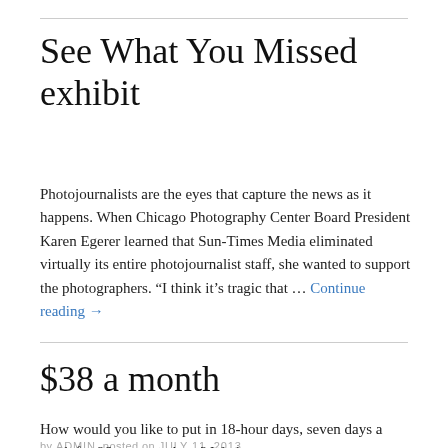See What You Missed exhibit
Photojournalists are the eyes that capture the news as it happens. When Chicago Photography Center Board President Karen Egerer learned that Sun-Times Media eliminated virtually its entire photojournalist staff, she wanted to support the photographers. “I think it’s tragic that … Continue reading →
by ADMIN posted on JULY 11, 2013
posted in UNCATEGORIZED | COMMENTS OFF
$38 a month
How would you like to put in 18-hour days, seven days a week for 96 cents per hour? Workers cannot count on